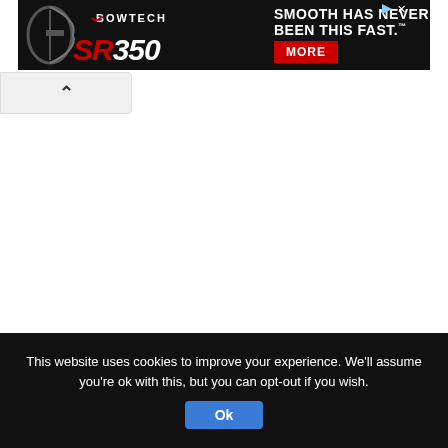[Figure (screenshot): Bowtech SR350 compound bow advertisement banner with black background. Left side shows bow silhouette and 'BOWTECH' logo with red checkmark, 'SR350' in large italic text. Right side says 'SMOOTH HAS NEVER BEEN THIS FAST.' with a red 'MORE' button. Top right has ad icons.]
[Figure (screenshot): Navigation bar element with up-arrow (^) chevron on a light gray background]
This website uses cookies to improve your experience. We'll assume you're ok with this, but you can opt-out if you wish.
Ok